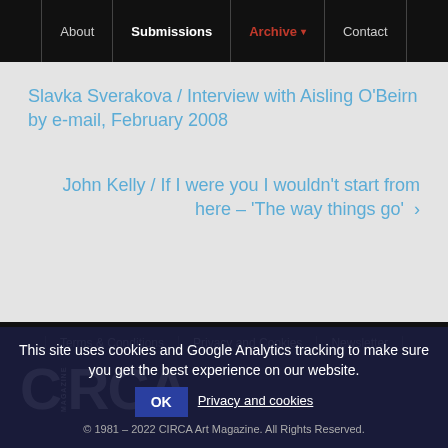About | Submissions | Archive | Contact
Slavka Sverakova / Interview with Aisling O'Beirn by e-mail, February 2008
John Kelly / If I were you I wouldn't start from here – 'The way things go' >
Terms & Conditions  Privacy and Cookies  Newsletter
[Figure (logo): CIRCA Magazine logo in white on black background]
This site uses cookies and Google Analytics tracking to make sure you get the best experience on our website.
OK  Privacy and cookies
© 1981 – 2022 CIRCA Art Magazine. All Rights Reserved.